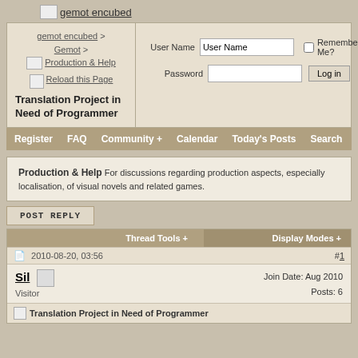[Figure (logo): gemot encubed logo with small image icon]
gemot encubed > Gemot > Production & Help
[Figure (illustration): Reload this Page icon link]
Translation Project in Need of Programmer
User Name field, Password field, Remember Me checkbox, Log in button
Register  FAQ  Community +  Calendar  Today's Posts  Search
Production & Help For discussions regarding production aspects, especially localisation, of visual novels and related games.
POST REPLY
| Thread Tools + | Display Modes + |
| --- | --- |
| 2010-08-20, 03:56 | #1 |
| Sil [icon] Visitor | Join Date: Aug 2010
Posts: 6 |
| Translation Project in Need of Programmer |  |